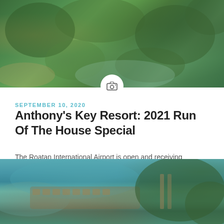[Figure (photo): Aerial view of tropical island with dense green vegetation and water surroundings, with a camera icon badge overlaid at the bottom center]
SEPTEMBER 10, 2020
Anthony's Key Resort: 2021 Run Of The House Special
The Roatan International Airport is open and receiving domestic and international flights — and you know what that means... We're back, baby! Anthony's Key...
[Figure (photo): Aerial view of a coastal resort area with bungalows along the shoreline, turquoise water and dense tropical forest, showing a dock/pier extending into the water]